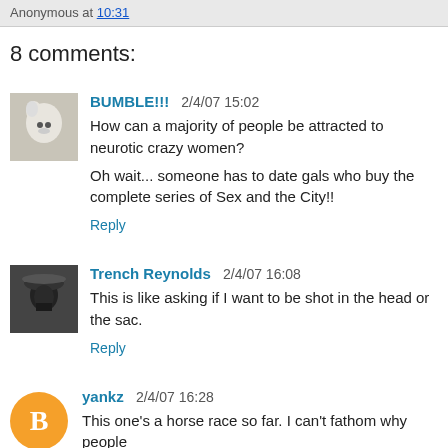Anonymous at 10:31
8 comments:
BUMBLE!!!  2/4/07 15:02
How can a majority of people be attracted to neurotic crazy women?

Oh wait... someone has to date gals who buy the complete series of Sex and the City!!
Reply
Trench Reynolds  2/4/07 16:08
This is like asking if I want to be shot in the head or the sac.
Reply
yankz  2/4/07 16:28
This one's a horse race so far. I can't fathom why people